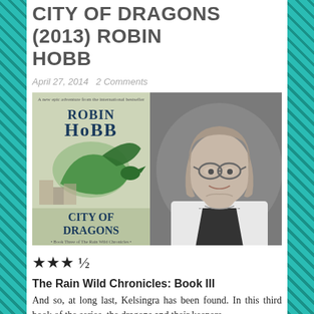CITY OF DRAGONS (2013) ROBIN HOBB
April 27, 2014   2 Comments
[Figure (illustration): Book cover of City of Dragons by Robin Hobb (Rain Wild Chronicles Book Three) showing a green dragon and buildings, and a black-and-white author photo of Robin Hobb, a middle-aged woman with glasses resting her chin on her hand]
★★★ ½
The Rain Wild Chronicles: Book III
And so, at long last, Kelsingra has been found. In this third book of the series, the dragons and their keepers